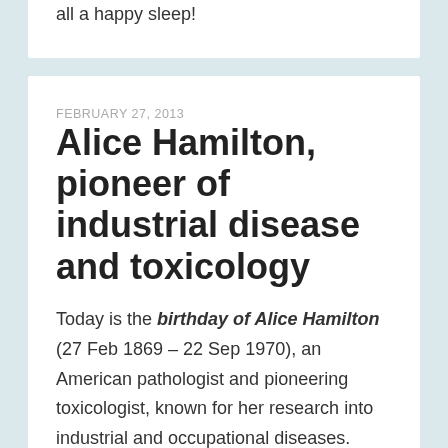all a happy sleep!
FEBRUARY 27, 2013
Alice Hamilton, pioneer of industrial disease and toxicology
Today is the birthday of Alice Hamilton (27 Feb 1869 – 22 Sep 1970), an American pathologist and pioneering toxicologist, known for her research into industrial and occupational diseases.